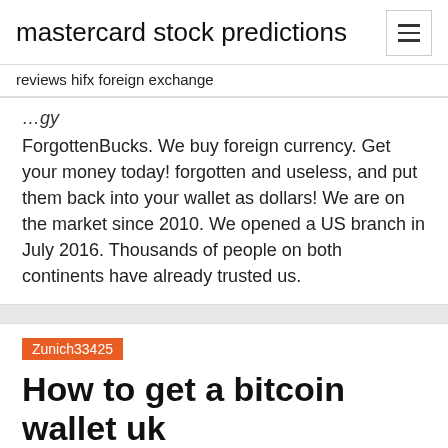mastercard stock predictions
reviews hifx foreign exchange
ForgottenBucks. We buy foreign currency. Get your money today! forgotten and useless, and put them back into your wallet as dollars! We are on the market since 2010. We opened a US branch in July 2016. Thousands of people on both continents have already trusted us.
Zunich33425
How to get a bitcoin wallet uk
Exchange Crypto to Crypto. Easily exchange crypto-to-crypto within your Blockchain Wallet. We now offer buy